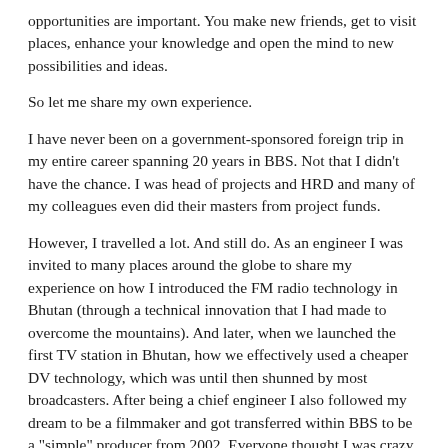opportunities are important. You make new friends, get to visit places, enhance your knowledge and open the mind to new possibilities and ideas.
So let me share my own experience.
I have never been on a government-sponsored foreign trip in my entire career spanning 20 years in BBS. Not that I didn't have the chance. I was head of projects and HRD and many of my colleagues even did their masters from project funds.
However, I travelled a lot. And still do. As an engineer I was invited to many places around the globe to share my experience on how I introduced the FM radio technology in Bhutan (through a technical innovation that I had made to overcome the mountains). And later, when we launched the first TV station in Bhutan, how we effectively used a cheaper DV technology, which was until then shunned by most broadcasters. After being a chief engineer I also followed my dream to be a filmmaker and got transferred within BBS to be a "simple" producer from 2002. Everyone thought I was crazy. I persisted and in less than two years I won the Japan Prize for educational programs. Then more invitations and more awards rolled in - including as vice-Chair of an international working group. I was voted to the position at the General Assembly in Almaty (Kazakhstan) after sticking my neck out and fighting for more say for small broadcasters and members.